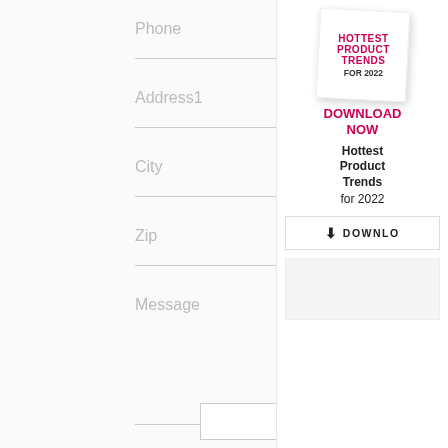Phone
Company
Address1
Address 2
City
State
Zip
Fax
Message
[Figure (other): Book cover graphic with text: HOTTEST PRODUCT TRENDS FOR 2022, white background with slight rotation]
DOWNLOAD NOW
Hottest Product Trends for 2022
DOWNLOAD